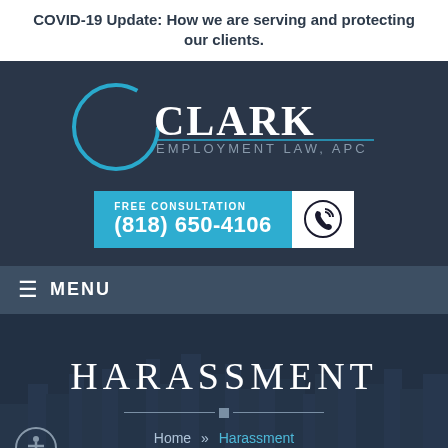COVID-19 Update: How we are serving and protecting our clients.
[Figure (logo): Clark Employment Law, APC logo with teal circle arc graphic]
[Figure (infographic): Free Consultation (818) 650-4106 call button with phone icon]
MENU
HARASSMENT
Home >> Harassment